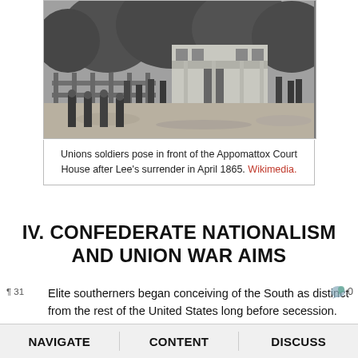[Figure (photo): Black and white historical photograph of Union soldiers posing in front of the Appomattox Court House after Lee's surrender in April 1865. Trees visible in background, soldiers and horses gathered around a building.]
Unions soldiers pose in front of the Appomattox Court House after Lee's surrender in April 1865. Wikimedia.
IV. CONFEDERATE NATIONALISM AND UNION WAR AIMS
Elite southerners began conceiving of the South as distinct from the rest of the United States long before secession. Elite antebellum southerners feared that abolitionism would threaten slavery, leading southern politicians to advance the position of states' rights. They argued that the ultimate power rested in the
NAVIGATE   CONTENT   DISCUSS